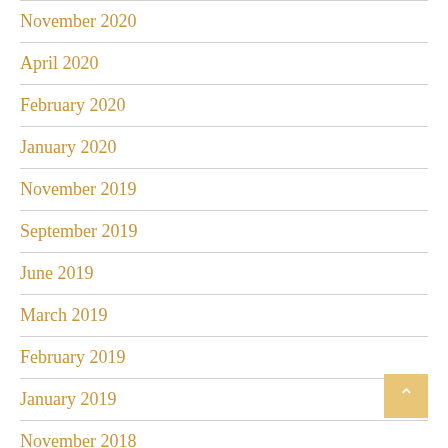November 2020
April 2020
February 2020
January 2020
November 2019
September 2019
June 2019
March 2019
February 2019
January 2019
November 2018
October 2018